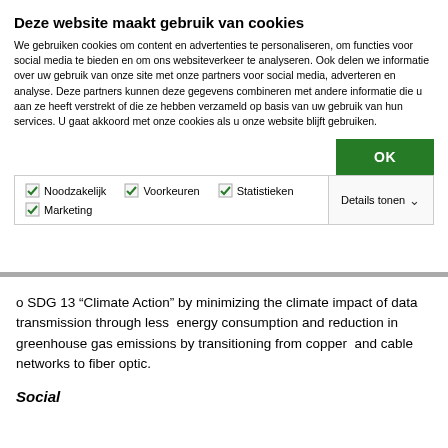Deze website maakt gebruik van cookies
We gebruiken cookies om content en advertenties te personaliseren, om functies voor social media te bieden en om ons websiteverkeer te analyseren. Ook delen we informatie over uw gebruik van onze site met onze partners voor social media, adverteren en analyse. Deze partners kunnen deze gegevens combineren met andere informatie die u aan ze heeft verstrekt of die ze hebben verzameld op basis van uw gebruik van hun services. U gaat akkoord met onze cookies als u onze website blijft gebruiken.
OK
Noodzakelijk  Voorkeuren  Statistieken  Marketing  Details tonen
o SDG 13 “Climate Action” by minimizing the climate impact of data transmission through less energy consumption and reduction in greenhouse gas emissions by transitioning from copper and cable networks to fiber optic.
Social